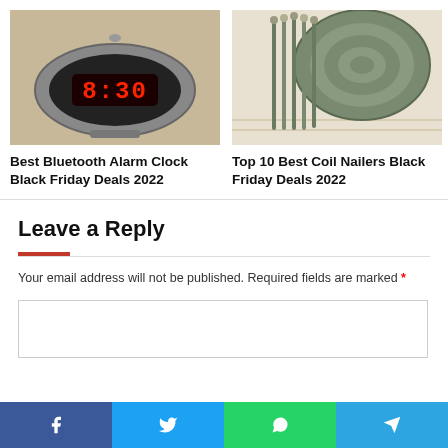[Figure (photo): Digital alarm clock showing 8:30 in red LED display on silver body]
Best Bluetooth Alarm Clock Black Friday Deals 2022
[Figure (photo): Coil of galvanized roofing nails / coil nailers on wooden surface]
Top 10 Best Coil Nailers Black Friday Deals 2022
Leave a Reply
Your email address will not be published. Required fields are marked *